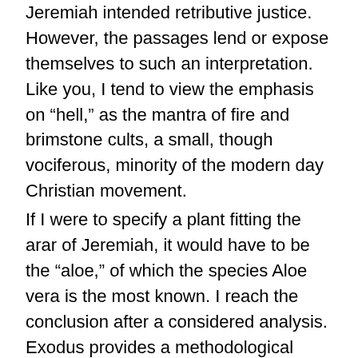Jeremiah intended retributive justice. However, the passages lend or expose themselves to such an interpretation. Like you, I tend to view the emphasis on “hell,” as the mantra of fire and brimstone cults, a small, though vociferous, minority of the modern day Christian movement. If I were to specify a plant fitting the arar of Jeremiah, it would have to be the “aloe,” of which the species Aloe vera is the most known. I reach the conclusion after a considered analysis. Exodus provides a methodological control for Jeremiah. (Why this is so makes for